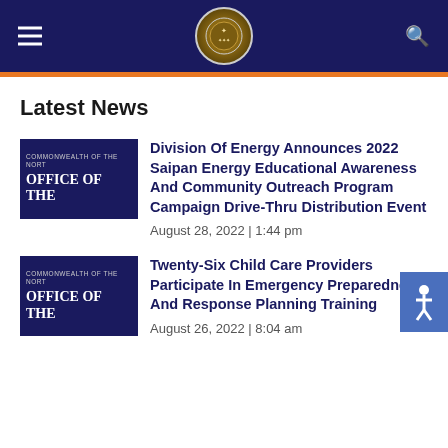[Figure (logo): Government website header with hamburger menu, circular seal logo, and search icon on dark navy background]
Latest News
[Figure (logo): Commonwealth of the Northern Mariana Islands Office of the Governor thumbnail image]
Division Of Energy Announces 2022 Saipan Energy Educational Awareness And Community Outreach Program Campaign Drive-Thru Distribution Event
August 28, 2022 | 1:44 pm
[Figure (logo): Commonwealth of the Northern Mariana Islands Office of the Governor thumbnail image]
Twenty-Six Child Care Providers Participate In Emergency Preparedness And Response Planning Training
August 26, 2022 | 8:04 am